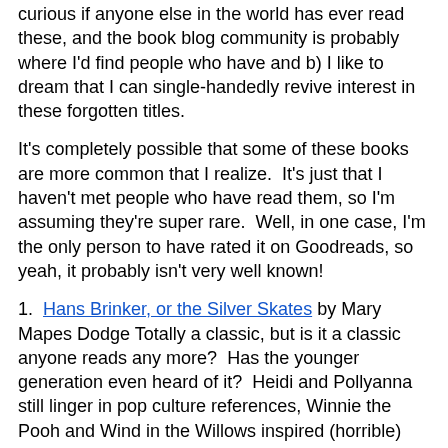curious if anyone else in the world has ever read these, and the book blog community is probably where I'd find people who have and b) I like to dream that I can single-handedly revive interest in these forgotten titles.
It's completely possible that some of these books are more common that I realize.  It's just that I haven't met people who have read them, so I'm assuming they're super rare.  Well, in one case, I'm the only person to have rated it on Goodreads, so yeah, it probably isn't very well known!
1.  Hans Brinker, or the Silver Skates by Mary Mapes Dodge Totally a classic, but is it a classic anyone reads any more?  Has the younger generation even heard of it?  Heidi and Pollyanna still linger in pop culture references, Winnie the Pooh and Wind in the Willows inspired (horrible) cartoons, but I suspect that of the 10,000 people who have rated it on Goodreads, 9,900 are my age or older.  It was published in 1865, and stars supernaturally good children named Hans and Gretel.  I had a hand-me-down hardback copy, with a bright blue cloth cover and black and white line drawings inside.  On the few occasions in life when I've skated